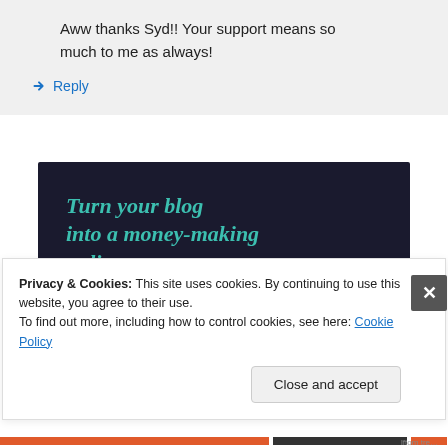Aww thanks Syd!! Your support means so much to me as always!
↳ Reply
[Figure (infographic): Dark navy banner ad with teal italic text reading 'Turn your blog into a money-making online course.' and a teal rounded 'Learn More' button.]
Privacy & Cookies: This site uses cookies. By continuing to use this website, you agree to their use.
To find out more, including how to control cookies, see here: Cookie Policy
Close and accept